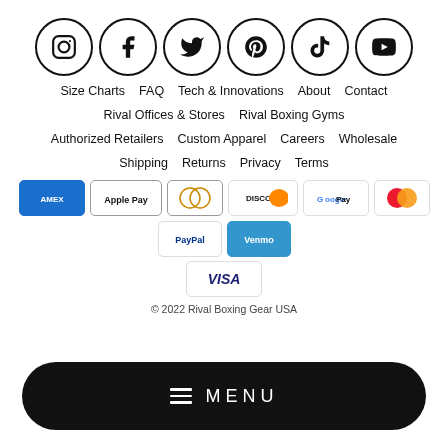[Figure (other): Social media icons in circles: Instagram, Facebook, Twitter, Pinterest, TikTok, YouTube]
Size Charts   FAQ   Tech & Innovations   About   Contact
Rival Offices & Stores   Rival Boxing Gyms
Authorized Retailers   Custom Apparel   Careers   Wholesale
Shipping   Returns   Privacy   Terms
[Figure (other): Payment method icons: American Express, Apple Pay, Diners Club, Discover, Google Pay, Mastercard, PayPal, Venmo, Visa]
© 2022 Rival Boxing Gear USA
[Figure (other): Black pill-shaped menu button with hamburger icon and MENU text]